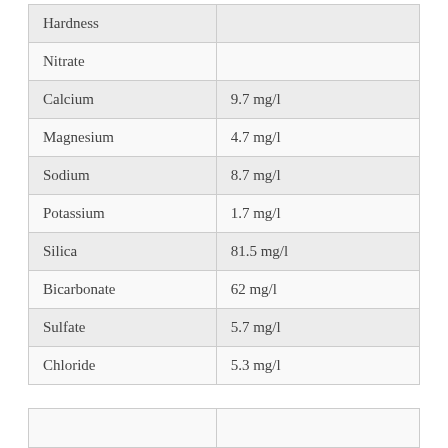| Parameter | Value |
| --- | --- |
| Hardness |  |
| Nitrate |  |
| Calcium | 9.7 mg/l |
| Magnesium | 4.7 mg/l |
| Sodium | 8.7 mg/l |
| Potassium | 1.7 mg/l |
| Silica | 81.5 mg/l |
| Bicarbonate | 62 mg/l |
| Sulfate | 5.7 mg/l |
| Chloride | 5.3 mg/l |
|  |  |